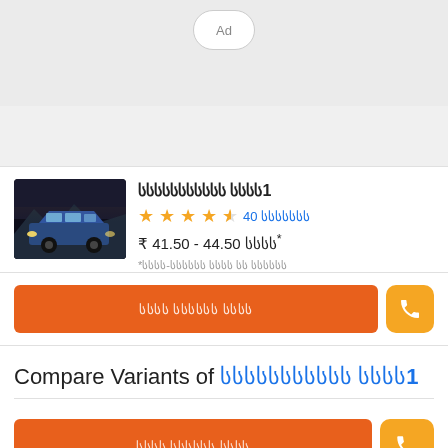[Figure (other): Ad badge at top center of page]
[Figure (photo): Blue SUV car (BMW X1) driving at night with city lights in background]
სსსსსსსსსსს სსსს1
★★★★½ 40 სსსსსსსს
₹ 41.50 - 44.50 სსსს* *სსსს-სსსსსს სსსს სს სსსსსს
სსსს სსსსსს სსსს
Compare Variants of სსსსსსსსსსს სსსს1
სსსს სსსსსს სსსს